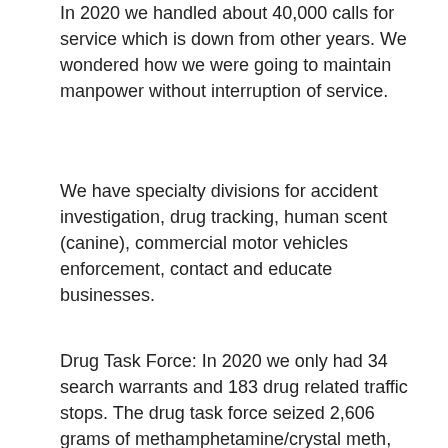In 2020 we handled about 40,000 calls for service which is down from other years. We wondered how we were going to maintain manpower without interruption of service.
We have specialty divisions for accident investigation, drug tracking, human scent (canine), commercial motor vehicles enforcement, contact and educate businesses.
Drug Task Force: In 2020 we only had 34 search warrants and 183 drug related traffic stops. The drug task force seized 2,606 grams of methamphetamine/crystal meth, 121 grams of